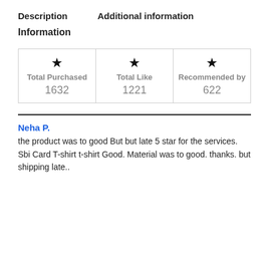Description    Additional information
Information
| Total Purchased | Total Like | Recommended by |
| --- | --- | --- |
| 1632 | 1221 | 622 |
Neha P.
the product was to good But but late 5 star for the services. Sbi Card T-shirt t-shirt Good. Material was to good. thanks. but shipping late..